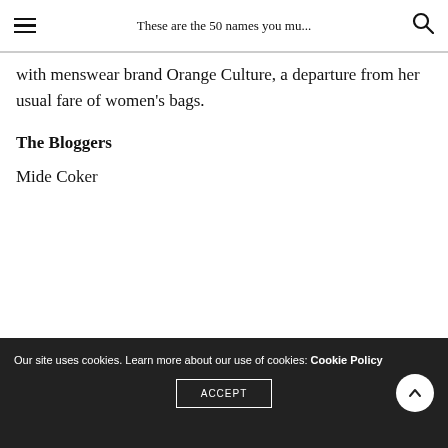These are the 50 names you mu...
with menswear brand Orange Culture, a departure from her usual fare of women's bags.
The Bloggers
Mide Coker
Our site uses cookies. Learn more about our use of cookies: Cookie Policy ACCEPT